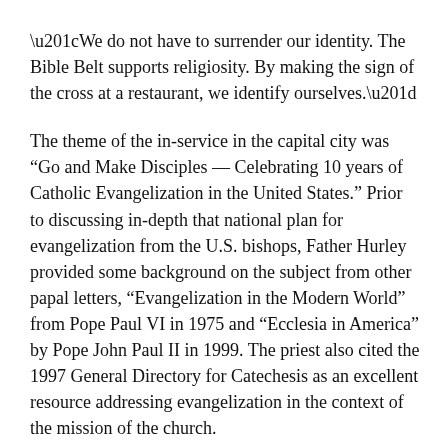“We do not have to surrender our identity. The Bible Belt supports religiosity. By making the sign of the cross at a restaurant, we identify ourselves.”
The theme of the in-service in the capital city was “Go and Make Disciples — Celebrating 10 years of Catholic Evangelization in the United States.” Prior to discussing in-depth that national plan for evangelization from the U.S. bishops, Father Hurley provided some background on the subject from other papal letters, “Evangelization in the Modern World” from Pope Paul VI in 1975 and “Ecclesia in America” by Pope John Paul II in 1999. The priest also cited the 1997 General Directory for Catechesis as an excellent resource addressing evangelization in the context of the mission of the church.
“Go and Make Disciples,” published in its entirety in the Jan. 3 edition of The Miscellany, lists enthusiasm, invitation and witness as three goals for increasing dedication to a new